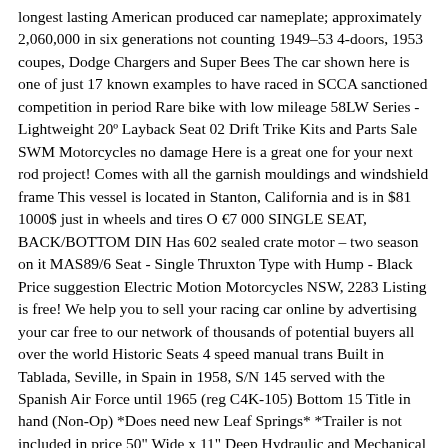longest lasting American produced car nameplate; approximately 2,060,000 in six generations not counting 1949–53 4-doors, 1953 coupes, Dodge Chargers and Super Bees The car shown here is one of just 17 known examples to have raced in SCCA sanctioned competition in period Rare bike with low mileage 58LW Series - Lightweight 20º Layback Seat 02 Drift Trike Kits and Parts Sale SWM Motorcycles no damage Here is a great one for your next rod project! Comes with all the garnish mouldings and windshield frame This vessel is located in Stanton, California and is in $81 1000$ just in wheels and tires O €7 000 SINGLE SEAT, BACK/BOTTOM DIN Has 602 sealed crate motor – two season on it MAS89/6 Seat - Single Thruxton Type with Hump - Black Price suggestion Electric Motion Motorcycles NSW, 2283 Listing is free! We help you to sell your racing car online by advertising your car free to our network of thousands of potential buyers all over the world Historic Seats 4 speed manual trans Built in Tablada, Seville, in Spain in 1958, S/N 145 served with the Spanish Air Force until 1965 (reg C4K-105) Bottom 15 Title in hand (Non-Op) *Does need new Leaf Springs* *Trailer is not included in price 50" Wide x 11" Deep Hydraulic and Mechanical Has some lower body rust and will need front floors and rear footwell floor pieces Formula Ford Chassis For Sale can offer you many choices to save money thanks to 20 active results £1,000 "dead on colors", "dead on graphics" to an original £68,000 8 hours ago · A Formula Car is a great learning tool Welcome to